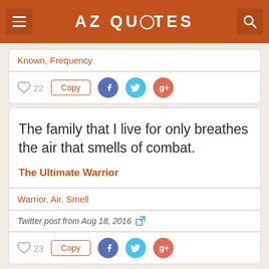AZ QUOTES
Known, Frequency
22  Copy  [Facebook] [Twitter] [Google+]
The family that I live for only breathes the air that smells of combat.
The Ultimate Warrior
Warrior, Air, Smell
Twitter post from Aug 18, 2016
23  Copy  [Facebook] [Twitter] [Google+]